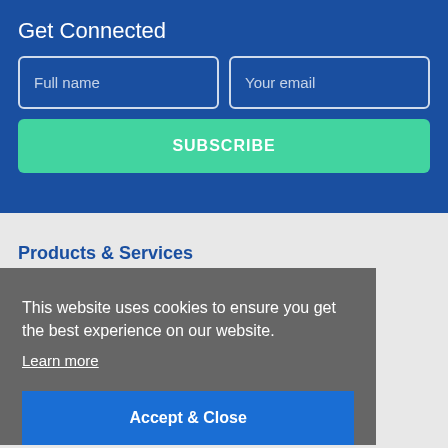Get Connected
Full name
Your email
SUBSCRIBE
Products & Services
This website uses cookies to ensure you get the best experience on our website.
Learn more
Accept & Close
About The ai Corporation
Support Centre